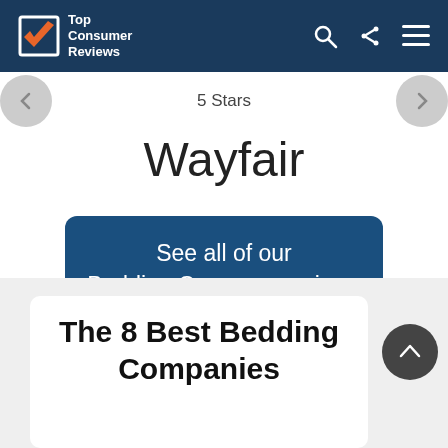Top Consumer Reviews
5 Stars
Wayfair
See all of our Bedding Company reviews
The 8 Best Bedding Companies